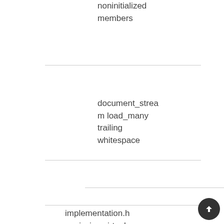noninitialized members
document_stream load_many trailing whitespace
implementation.h missing virtual destructor